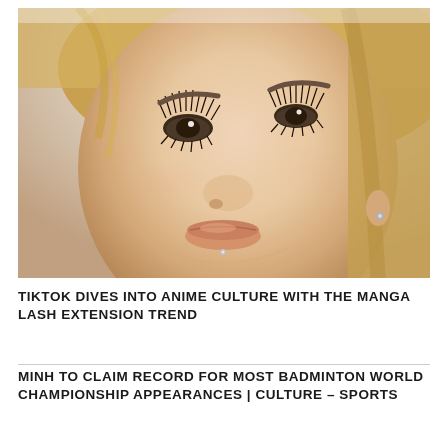[Figure (photo): Close-up portrait photo of a young woman with blonde hair, dramatic long eyelash extensions (manga-style), subtle blush makeup, a small chin piercing, and a small stud earring. Softly lit with neutral/peachy tones.]
TIKTOK DIVES INTO ANIME CULTURE WITH THE MANGA LASH EXTENSION TREND
MINH TO CLAIM RECORD FOR MOST BADMINTON WORLD CHAMPIONSHIP APPEARANCES | CULTURE – SPORTS